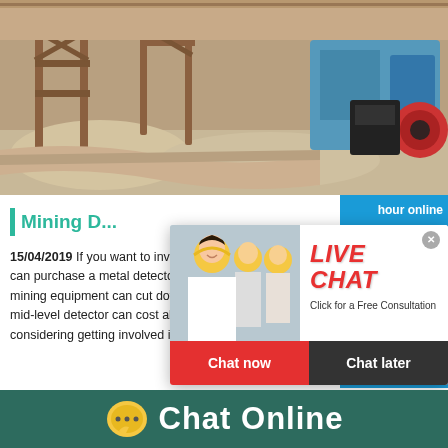[Figure (photo): Industrial mining equipment facility with conveyor belts, metal structures, and blue electric motor machinery at a mining site]
Mining D...
15/04/2019  If you want to invest in gold, you can purchase a metal detector designed to find gold. This mining equipment can cut down on the time spent searching. A mid-level detector can cost about $600. Know that if you're considering getting involved in gold prospect...
[Figure (screenshot): Live Chat popup overlay with workers in hard hats, LIVE CHAT title in red italic text, 'Click for a Free Consultation' subtitle, red Chat now button, dark gray Chat later button, and a blue right panel showing a cone crusher and 'Click me to chat>>' button]
[Figure (other): Chat Online footer bar with yellow chat bubble icon and white text on dark teal background]